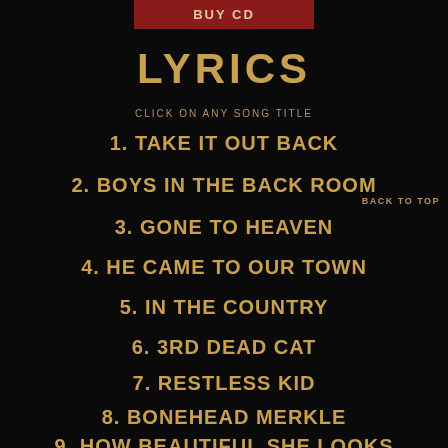[Figure (other): BUY CD button in dark red/crimson background]
LYRICS
CLICK ON ANY SONG TITLE
1. TAKE IT OUT BACK
2. BOYS IN THE BACK ROOM
BACK TO TOP
3. GONE TO HEAVEN
4. HE CAME TO OUR TOWN
5. IN THE COUNTRY
6. 3RD DEAD CAT
7. RESTLESS KID
8. BONEHEAD MERKLE
9. HOW BEAUTIFUL SHE LOOKS